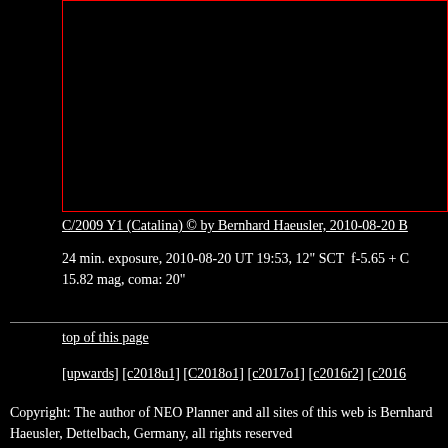[Figure (photo): Astronomical image of comet C/2009 Y1 (Catalina), black background with red border frame]
C/2009 Y1 (Catalina) © by Bernhard Haeusler, 2010-08-20 B
24 min. exposure, 2010-08-20 UT 19:53, 12" SCT  f-5.65 + C 15.82 mag, coma: 20"
top of this page
[upwards] [c2018u1] [C2018o1] [c2017o1] [c2016r2] [c2016
Copyright: The author of NEO Planner and all sites of this web is Bernhard Haeusler, Dettelbach, Germany, all rights reserved